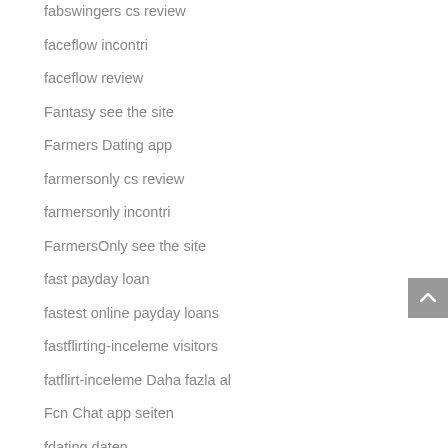fabswingers cs review
faceflow incontri
faceflow review
Fantasy see the site
Farmers Dating app
farmersonly cs review
farmersonly incontri
FarmersOnly see the site
fast payday loan
fastest online payday loans
fastflirting-inceleme visitors
fatflirt-inceleme Daha fazla al
Fcn Chat app seiten
fdating daten
feeld review